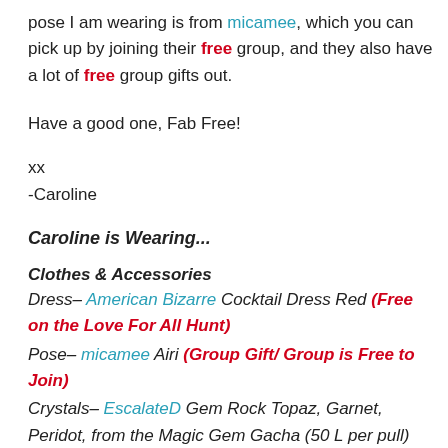pose I am wearing is from micamee, which you can pick up by joining their free group, and they also have a lot of free group gifts out.
Have a good one, Fab Free!
xx
-Caroline
Caroline is Wearing...
Clothes & Accessories
Dress– American Bizarre Cocktail Dress Red (Free on the Love For All Hunt)
Pose– micamee Airi (Group Gift/ Group is Free to Join)
Crystals– EscalateD Gem Rock Topaz, Garnet, Peridot, from the Magic Gem Gacha (50 L per pull)
Body